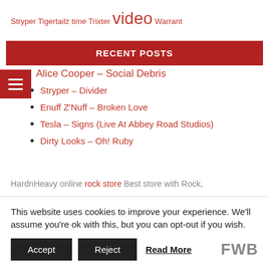Stryper Tigertailz time Trixter video Warrant
RECENT POSTS
Alice Cooper – Social Debris
Stryper – Divider
Enuff Z'Nuff – Broken Love
Tesla – Signs (Live At Abbey Road Studios)
Dirty Looks – Oh! Ruby
HardnHeavy online rock store Best store with Rock,
This website uses cookies to improve your experience. We'll assume you're ok with this, but you can opt-out if you wish.
Accept Reject Read More FWB